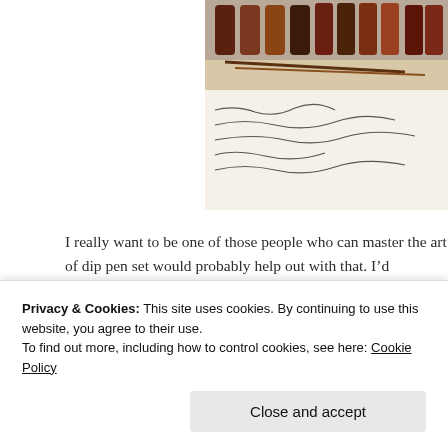[Figure (photo): Photo of a dip pen set in a wooden box with ink bottles and nibs, handwriting visible on paper below]
I really want to be one of those people who can master the art of dip pen set would probably help out with that. I’d probably just n at least it’d look really cute on my desk.
2. Starlight Projector, £47.95
[Figure (photo): Photo of a colorful starlight projector projecting green, pink, and blue aurora-like lights with stars]
Privacy & Cookies: This site uses cookies. By continuing to use this website, you agree to their use. To find out more, including how to control cookies, see here: Cookie Policy
Close and accept